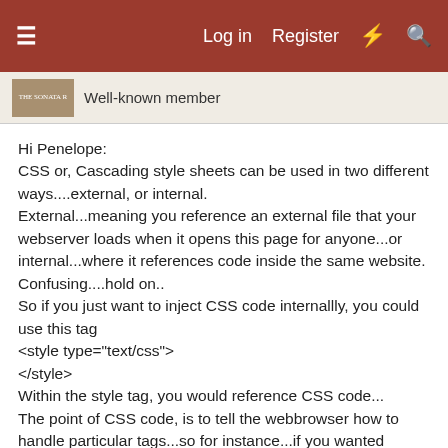≡   Log in   Register   ⚡   🔍
Well-known member
Hi Penelope:
CSS or, Cascading style sheets can be used in two different ways....external, or internal.
External...meaning you reference an external file that your webserver loads when it opens this page for anyone...or internal...where it references code inside the same website.
Confusing....hold on..
So if you just want to inject CSS code internallly, you could use this tag
<style type="text/css">
</style>
Within the style tag, you would reference CSS code...
The point of CSS code, is to tell the webbrowser how to handle particular tags...so for instance...if you wanted everything between an <h1> tag to have blue